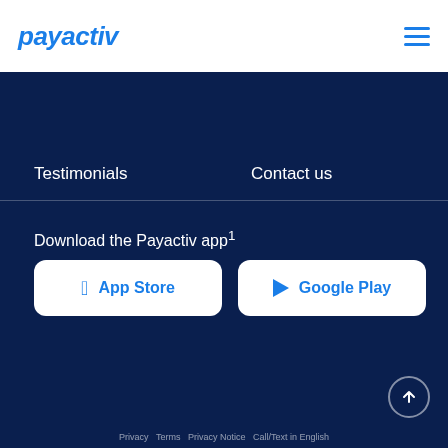[Figure (logo): Payactiv logo in blue italic text]
[Figure (other): Hamburger menu icon with three blue horizontal lines]
Testimonials
Contact us
Download the Payactiv app¹
[Figure (other): App Store button - white rounded rectangle with Apple icon and App Store text in blue]
[Figure (other): Google Play button - white rounded rectangle with play triangle icon and Google Play text in blue]
Privacy  Terms  Privacy Notice  Call/Text in English